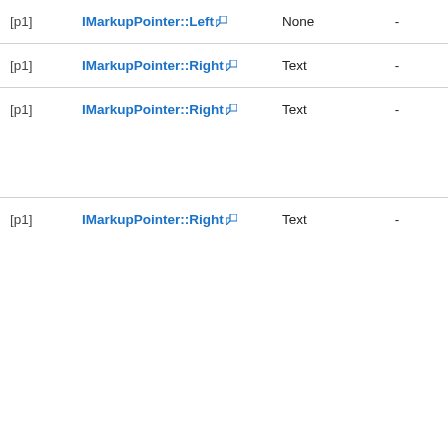|  | Name | Type |  | Value |
| --- | --- | --- | --- | --- |
| [p1] | IMarkupPointer::Left | None | - | - |
| [p1] | IMarkupPointer::Right | Text | - | 2 |
| [p1] | IMarkupPointer::Right | Text | - | -1 |
| [p1] | IMarkupPointer::Right | Text | - | 345 |